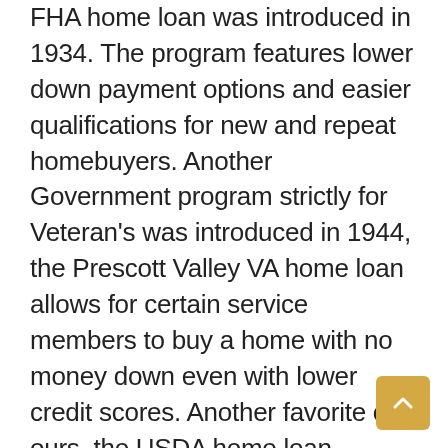FHA home loan was introduced in 1934.  The program features lower down payment options and easier qualifications for new and repeat homebuyers.  Another Government program strictly for Veteran's was introduced in 1944, the Prescott Valley VA home loan allows for certain service members to buy a home with no money down even with lower credit scores.  Another favorite of ours, the USDA home loan created in 1991 offers the no money down option.  Last but not least a homebuyer favorite the forgivable Prescott Valley FHA homebuyer grant.  With over 24 years of